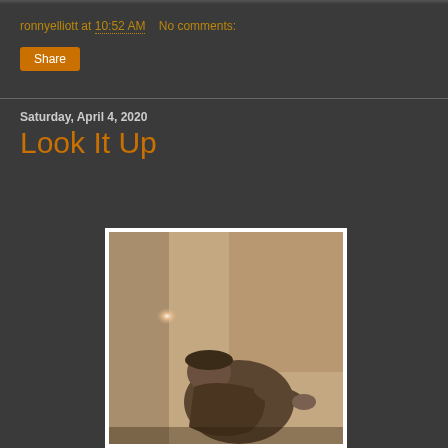ronnyelliott at 10:52 AM   No comments:
Share
Saturday, April 4, 2020
Look It Up
[Figure (photo): Old sepia-toned photograph of a person in vintage clothing, with a bright light orb/glow visible in the upper left area of the image. The figure appears to be bending forward or sitting.]